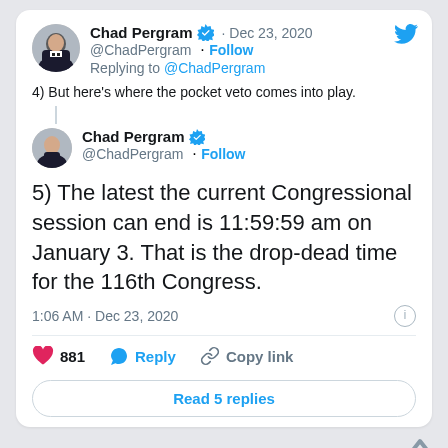[Figure (screenshot): Twitter/social media screenshot showing a tweet thread by Chad Pergram (@ChadPergram) dated Dec 23, 2020. First nested tweet says '4) But here's where the pocket veto comes into play.' Second tweet (larger) says '5) The latest the current Congressional session can end is 11:59:59 am on January 3. That is the drop-dead time for the 116th Congress.' Posted at 1:06 AM · Dec 23, 2020. 881 likes. Read 5 replies button. Below is a partial second tweet card.]